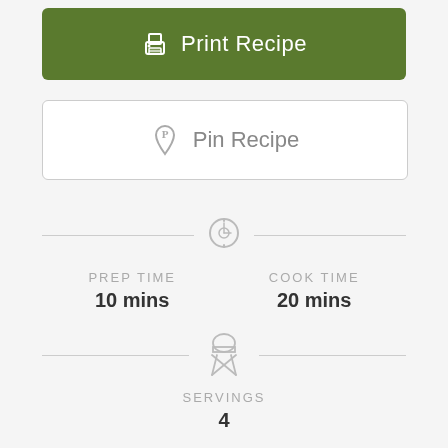[Figure (screenshot): Green button with printer icon labeled 'Print Recipe']
[Figure (screenshot): White button with Pinterest P icon labeled 'Pin Recipe']
PREP TIME 10 mins / COOK TIME 20 mins
SERVINGS 4